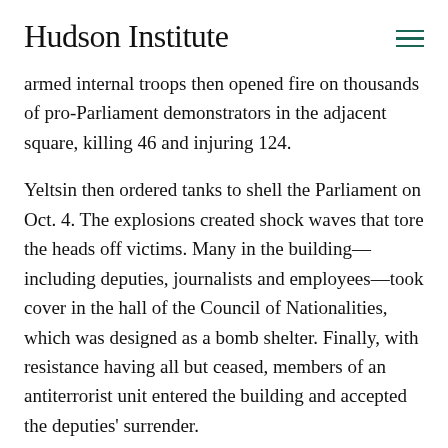Hudson Institute
armed internal troops then opened fire on thousands of pro-Parliament demonstrators in the adjacent square, killing 46 and injuring 124.
Yeltsin then ordered tanks to shell the Parliament on Oct. 4. The explosions created shock waves that tore the heads off victims. Many in the building—including deputies, journalists and employees—took cover in the hall of the Council of Nationalities, which was designed as a bomb shelter. Finally, with resistance having all but ceased, members of an antiterrorist unit entered the building and accepted the deputies' surrender.